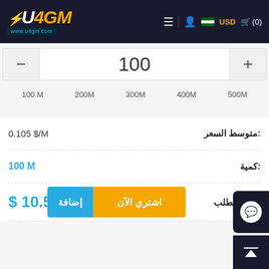[Figure (screenshot): U4GM website header with logo, navigation icons (menu, user, Saudi flag, USD, cart with 0 items)]
| − | 100 | + |
100 M
200M
300M
400M
500M
متوسط السعر: 0.105 $/M
كمية: 100 M
سعر الطلب: $ 10.5
اشتري الآن | إضافة